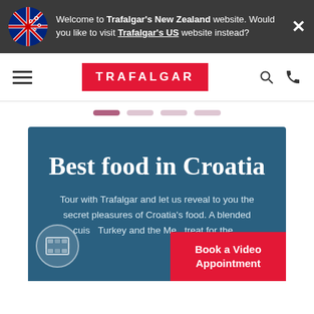Welcome to Trafalgar's New Zealand website. Would you like to visit Trafalgar's US website instead?
[Figure (logo): Trafalgar logo — white text on red background reading TRAFALGAR]
[Figure (infographic): Pagination dots — first dot active (pink), three inactive dots]
Best food in Croatia
Tour with Trafalgar and let us reveal to you the secret pleasures of Croatia's food. A blended cuis... Turkey and the Med... treat for the...
[Figure (infographic): Book a Video Appointment red button overlay]